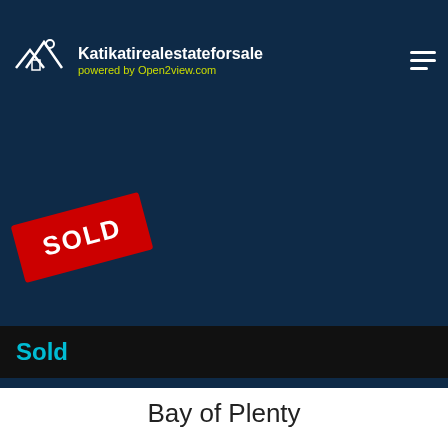[Figure (screenshot): Real estate website header with logo showing house/mountain icon, site name Katikatirealestateforsale, powered by Open2view.com in yellow, hamburger menu icon top right, all on dark navy background]
[Figure (photo): Dark navy blue image area showing a property photo with a red SOLD banner stamp rotated diagonally, and thumbnail image strip with number 45 at bottom]
Sold
Bay of Plenty
Overview   Agents   Property Description   Questions   Loc